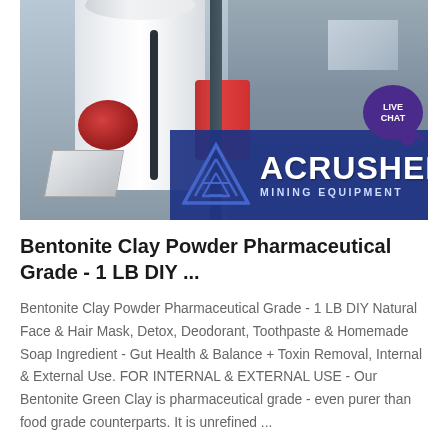[Figure (photo): Industrial mining machine (large white cylindrical mill with red components) inside a concrete industrial facility. An ACRUSHER Mining Equipment logo overlay appears in the lower portion of the image with a blue background, white triangle logo, and white text. A 'LIVE CHAT' speech bubble badge appears in the upper right corner.]
Bentonite Clay Powder Pharmaceutical Grade - 1 LB DIY ...
Bentonite Clay Powder Pharmaceutical Grade - 1 LB DIY Natural Face & Hair Mask, Detox, Deodorant, Toothpaste & Homemade Soap Ingredient - Gut Health & Balance + Toxin Removal, Internal & External Use. FOR INTERNAL & EXTERNAL USE - Our Bentonite Green Clay is pharmaceutical grade - even purer than food grade counterparts. It is unrefined ...